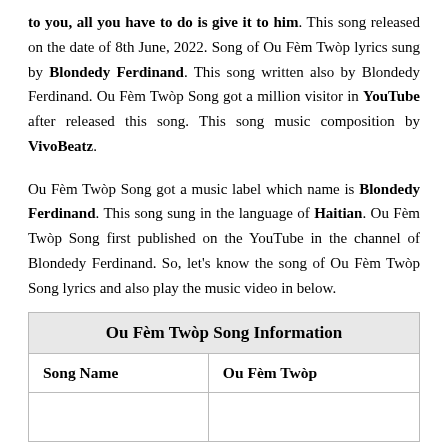to you, all you have to do is give it to him. This song released on the date of 8th June, 2022. Song of Ou Fèm Twòp lyrics sung by Blondedy Ferdinand. This song written also by Blondedy Ferdinand. Ou Fèm Twòp Song got a million visitor in YouTube after released this song. This song music composition by VivoBeatz.
Ou Fèm Twòp Song got a music label which name is Blondedy Ferdinand. This song sung in the language of Haitian. Ou Fèm Twòp Song first published on the YouTube in the channel of Blondedy Ferdinand. So, let's know the song of Ou Fèm Twòp Song lyrics and also play the music video in below.
| Song Name | Ou Fèm Twòp |
| --- | --- |